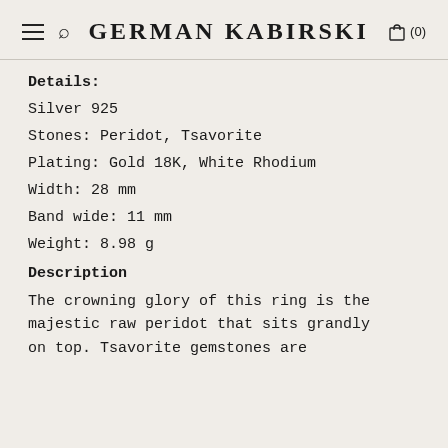GERMAN KABIRSKI
Details:
Silver 925
Stones: Peridot, Tsavorite
Plating: Gold 18K, White Rhodium
Width: 28 mm
Band wide: 11 mm
Weight: 8.98 g
Description
The crowning glory of this ring is the majestic raw peridot that sits grandly on top. Tsavorite gemstones are